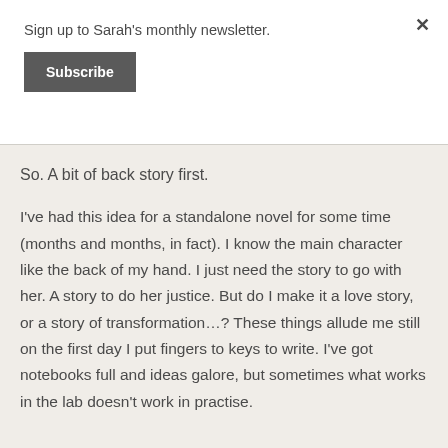Sign up to Sarah's monthly newsletter.
Subscribe
So. A bit of back story first.
I've had this idea for a standalone novel for some time (months and months, in fact). I know the main character like the back of my hand. I just need the story to go with her. A story to do her justice. But do I make it a love story, or a story of transformation…? These things allude me still on the first day I put fingers to keys to write. I've got notebooks full and ideas galore, but sometimes what works in the lab doesn't work in practise.